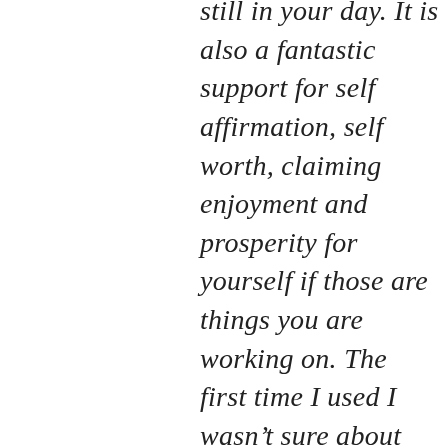still in your day. It is also a fantastic support for self affirmation, self worth, claiming enjoyment and prosperity for yourself if those are things you are working on. The first time I used I wasn't sure about the smell because it's a real RICH sweet mapley smell, but